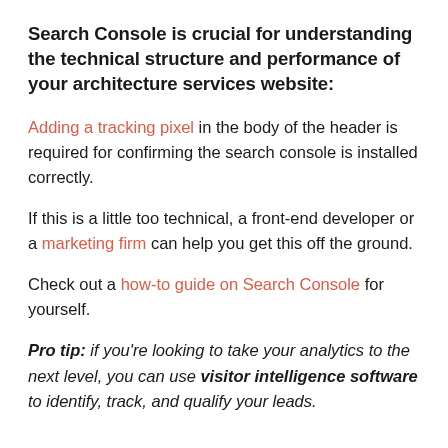Search Console is crucial for understanding the technical structure and performance of your architecture services website:
Adding a tracking pixel in the body of the header is required for confirming the search console is installed correctly.
If this is a little too technical, a front-end developer or a marketing firm can help you get this off the ground.
Check out a how-to guide on Search Console for yourself.
Pro tip: if you're looking to take your analytics to the next level, you can use visitor intelligence software to identify, track, and qualify your leads.